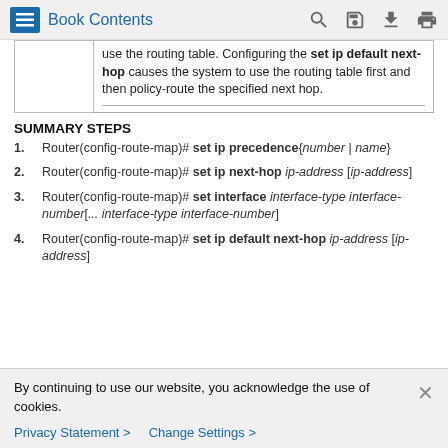Book Contents
|  |  |
| --- | --- |
|  | use the routing table. Configuring the set ip default next-hop causes the system to use the routing table first and then policy-route the specified next hop. |
SUMMARY STEPS
1. Router(config-route-map)# set ip precedence {number | name}
2. Router(config-route-map)# set ip next-hop ip-address [ip-address]
3. Router(config-route-map)# set interface interface-type interface-number[... interface-type interface-number]
4. Router(config-route-map)# set ip default next-hop ip-address [ip-address]
By continuing to use our website, you acknowledge the use of cookies.
Privacy Statement > Change Settings >